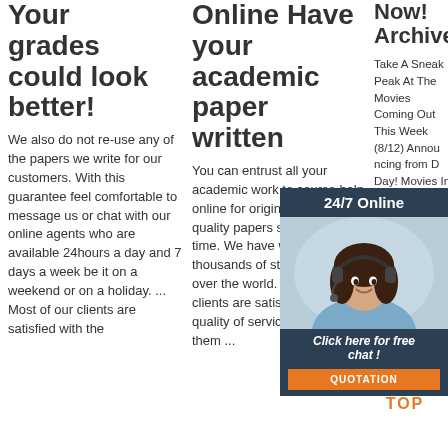Your grades could look better!
We also do not re-use any of the papers we write for our customers. With this guarantee feel comfortable to message us or chat with our online agents who are available 24hours a day and 7 days a week be it on a weekend or on a holiday. ... Most of our clients are satisfied with the
Online Have your academic paper written
You can entrust all your academic work to course help online for original and high quality papers submitted on time. We have worked with thousands of students from all over the world. Most of our clients are satisfied with the quality of services offered to them ...
Now! Archives
Take A Sneak Peak At The Movies Coming Out This Week (8/12) Announcing from D Day! Movies In Theaters Complete List. Best Romantic Movies In Theaters Now In The...
[Figure (infographic): Chat widget with 24/7 Online header, woman with headset photo, Click here for free chat text, and QUOTATION orange button]
[Figure (infographic): Get Price orange button and TOP logo with orange dots]
Click here for free chat !
QUOTATION
Get Price
TOP